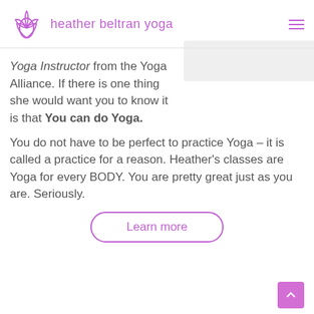heather beltran yoga
Yoga Instructor from the Yoga Alliance. If there is one thing she would want you to know it is that You can do Yoga.
[Figure (photo): Partially visible photo placeholder in upper right area]
You do not have to be perfect to practice Yoga – it is called a practice for a reason. Heather's classes are Yoga for every BODY. You are pretty great just as you are. Seriously.
Learn more